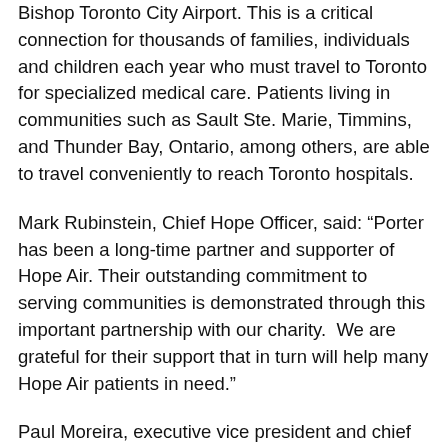Bishop Toronto City Airport. This is a critical connection for thousands of families, individuals and children each year who must travel to Toronto for specialized medical care. Patients living in communities such as Sault Ste. Marie, Timmins, and Thunder Bay, Ontario, among others, are able to travel conveniently to reach Toronto hospitals.
Mark Rubinstein, Chief Hope Officer, said: “Porter has been a long-time partner and supporter of Hope Air. Their outstanding commitment to serving communities is demonstrated through this important partnership with our charity.  We are grateful for their support that in turn will help many Hope Air patients in need.”
Paul Moreira, executive vice president and chief operating officer, Porter Airlines, noted that: “Porter has supported Hope Air’s efforts to better connect people with necessary medical care for more than a decade. Every Hope Air passenger that Porter can assist in accessing their treatments is incredibly meaningful to us. This shouldn’t be considered a privilege or based on where you live.”